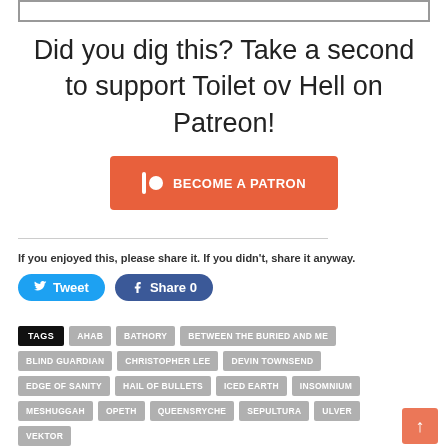Did you dig this? Take a second to support Toilet ov Hell on Patreon!
[Figure (other): Orange Patreon button with bar and circle icon, labeled BECOME A PATRON]
If you enjoyed this, please share it. If you didn't, share it anyway.
Tweet | Share 0
TAGS: AHAB, BATHORY, BETWEEN THE BURIED AND ME, BLIND GUARDIAN, CHRISTOPHER LEE, DEVIN TOWNSEND, EDGE OF SANITY, HAIL OF BULLETS, ICED EARTH, INSOMNIUM, MESHUGGAH, OPETH, QUEENSRYCHE, SEPULTURA, ULVER, VEKTOR